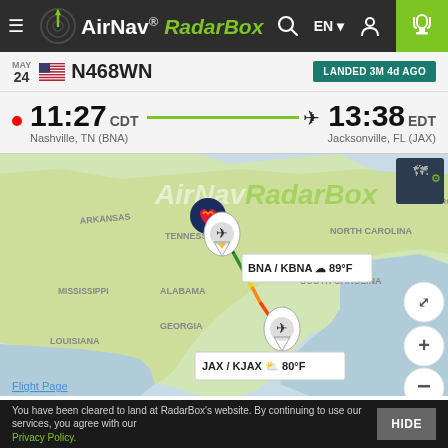AirNav RadarBox — navigation bar with menu, logo, search, language selector EN, account, and trophy icons
MAY 24  N468WN  LANDED 3M 4d AGO
11:27 CDT  Nashville, TN (BNA)  →  13:38 EDT  Jacksonville, FL (JAX)
[Figure (map): Flight route map showing path from BNA/KBNA (Nashville, TN, 89°F) to JAX/KJAX (Jacksonville, FL, 80°F) overlaid on southeastern US map with AirNav RadarBox watermark. Route displayed as multicolor line from Nashville to Jacksonville.]
You have been cleared to land at RadarBox's website. By continuing to use our services, you agree with our Privacy Policy.  HIDE